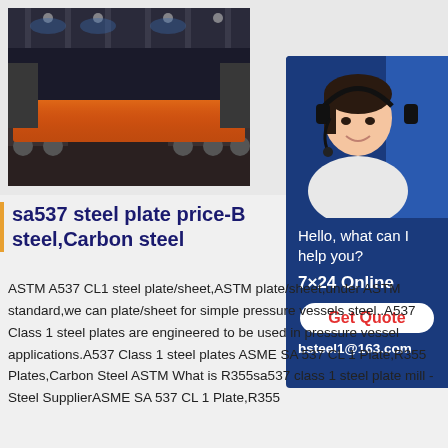[Figure (photo): Steel mill/industrial facility with hot steel slab on rollers, illuminated by orange glow in a dark factory setting]
[Figure (infographic): Blue customer service panel with woman wearing headset, text 'Hello, what can I help you?', '7x24 Online', 'Get Quote' button in red, and email 'bsteel1@163.com']
sa537 steel plate price-B steel,Carbon steel
ASTM A537 CL1 steel plate/sheet,ASTM plate/sheet,under ASTM standard,we can plate/sheet for simple pressure vessels steel..A537 Class 1 steel plates are engineered to be used in pressure vessel applications.A537 Class 1 steel plates ASME SA 537 CL 1 Plate,R355 Plates,Carbon Steel ASTM What is R355sa537 class 1 steel plate mill - Steel SupplierASME SA 537 CL 1 Plate,R355